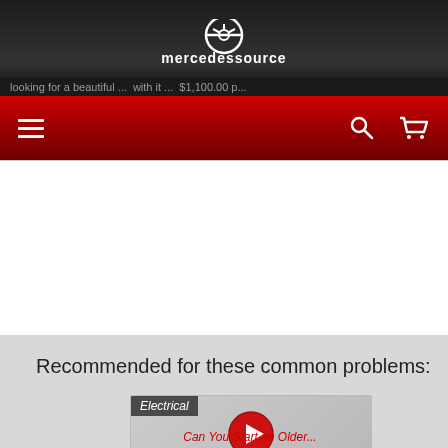[Figure (logo): mercedessource logo with steering wheel icon and white text on dark background]
looking for a beautiful ... with it ... $1,100.00 p...
[Figure (screenshot): Navigation bar with hamburger menu on left, search and cart icons on right, red gradient background]
Recommended for these common problems:
[Figure (screenshot): Video thumbnail with Electrical tag label and red play button, light gray background]
Can You Start an Older...